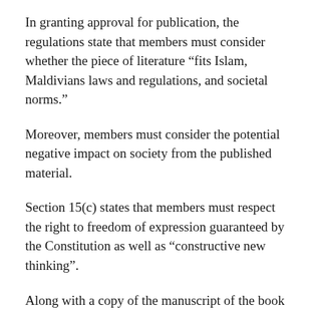In granting approval for publication, the regulations state that members must consider whether the piece of literature “fits Islam, Maldivians laws and regulations, and societal norms.”
Moreover, members must consider the potential negative impact on society from the published material.
Section 15(c) states that members must respect the right to freedom of expression guaranteed by the Constitution as well as “constructive new thinking”.
Along with a copy of the manuscript of the book or poem, a form seeking approval and a MVR50 revenue stamp must be submitted to the national bureau of classification.